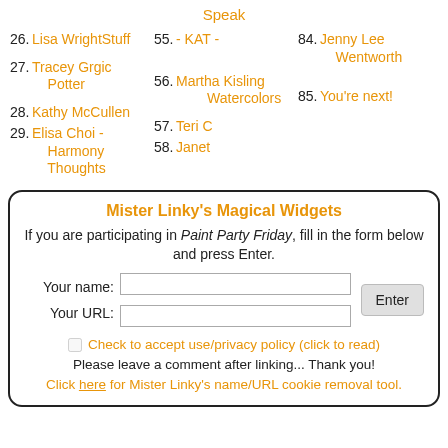Speak
26. Lisa WrightStuff
55. - KAT -
84. Jenny Lee Wentworth
27. Tracey Grgic Potter
56. Martha Kisling Watercolors
85. You're next!
28. Kathy McCullen
57. Teri C
29. Elisa Choi - Harmony Thoughts
58. Janet
Mister Linky's Magical Widgets
If you are participating in Paint Party Friday, fill in the form below and press Enter.
Your name:
Your URL:
Check to accept use/privacy policy (click to read)
Please leave a comment after linking... Thank you!
Click here for Mister Linky's name/URL cookie removal tool.